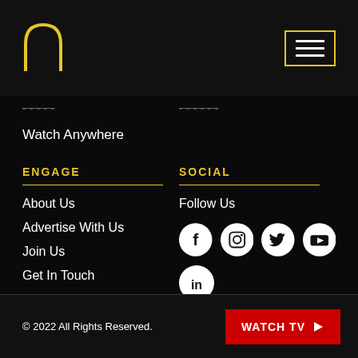[Figure (logo): Arch/window shape logo in gold outline at top left]
[Figure (illustration): Menu/hamburger icon with gold border at top right]
Watch Anywhere
ENGAGE
SOCIAL
About Us
Advertise With Us
Join Us
Get In Touch
Press
Legal Stuff
Follow Us
[Figure (illustration): Social media icons: Facebook, Instagram, Twitter, YouTube, LinkedIn in white circles on black background]
© 2022 All Rights Reserved.